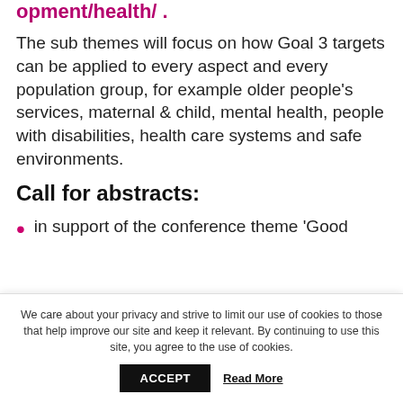opment/health/ .
The sub themes will focus on how Goal 3 targets can be applied to every aspect and every population group, for example older people's services, maternal & child, mental health, people with disabilities, health care systems and safe environments.
Call for abstracts:
in support of the conference theme 'Good
We care about your privacy and strive to limit our use of cookies to those that help improve our site and keep it relevant. By continuing to use this site, you agree to the use of cookies.